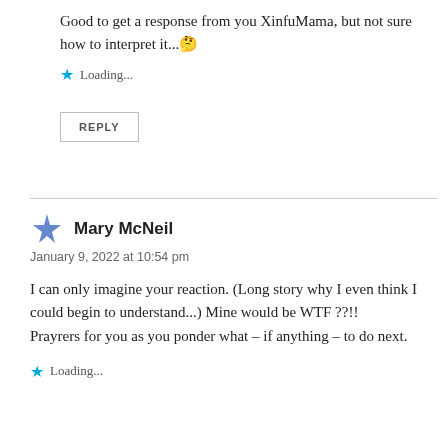Good to get a response from you XinfuMama, but not sure how to interpret it... 🤔
Loading...
REPLY
Mary McNeil
January 9, 2022 at 10:54 pm
I can only imagine your reaction. (Long story why I even think I could begin to understand...) Mine would be WTF ??!!
Prayrers for you as you ponder what – if anything – to do next.
Loading...